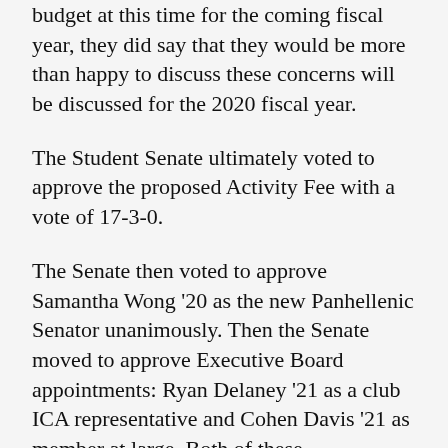budget at this time for the coming fiscal year, they did say that they would be more than happy to discuss these concerns will be discussed for the 2020 fiscal year.
The Student Senate ultimately voted to approve the proposed Activity Fee with a vote of 17-3-0.
The Senate then voted to approve Samantha Wong ’20 as the new Panhellenic Senator unanimously. Then the Senate moved to approve Executive Board appointments: Ryan Delaney ’21 as a club ICA representative and Cohen Davis ’21 as member at large. Both of these appointments were approved unanimously.